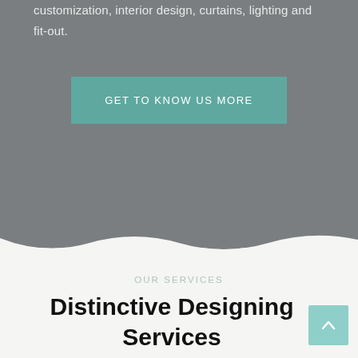customization, interior design, curtains, lighting and fit-out.
GET TO KNOW US MORE
OUR SERVICES
Distinctive Designing Services